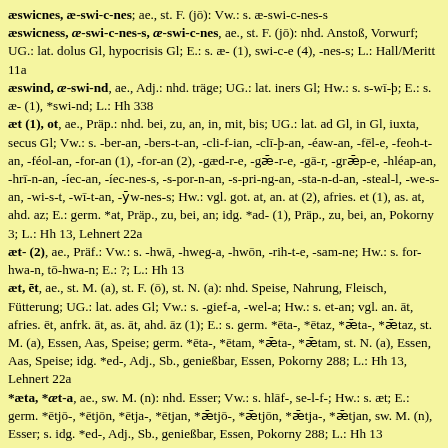æswicnes, æ-swi-c-nes; ae., st. F. (jō): Vw.: s. æ-swi-c-nes-s æswicness, æ-swi-c-nes-s, æ-swi-c-nes, ae., st. F. (jō): nhd. Anstoß, Vorwurf; UG.: lat. dolus Gl, hypocrisis Gl; E.: s. æ- (1), swi-c-e (4), -nes-s; L.: Hall/Meritt 11a æswind, æ-swi-nd, ae., Adj.: nhd. träge; UG.: lat. iners Gl; Hw.: s. s-wī-þ; E.: s. æ- (1), *swi-nd; L.: Hh 338 æt (1), ot, ae., Präp.: nhd. bei, zu, an, in, mit, bis; UG.: lat. ad Gl, in Gl, iuxta, secus Gl; Vw.: s. -ber-an, -bers-t-an, -cli-f-ian, -clī-þ-an, -éaw-an, -fēl-e, -feoh-t-an, -féol-an, -for-an (1), -for-an (2), -gæd-r-e, -gǣ-r-e, -gā-r, -grǣp-e, -hléap-an, -hrī-n-an, -íec-an, -íec-nes-s, -s-por-n-an, -s-pri-ng-an, -sta-n-d-an, -steal-l, -we-s-an, -wi-s-t, -wī-t-an, -ȳw-nes-s; Hw.: vgl. got. at, an. at (2), afries. et (1), as. at, ahd. az; E.: germ. *at, Präp., zu, bei, an; idg. *ad- (1), Präp., zu, bei, an, Pokorny 3; L.: Hh 13, Lehnert 22a æt- (2), ae., Präf.: Vw.: s. -hwā, -hweg-a, -hwōn, -rih-t-e, -sam-ne; Hw.: s. for-hwa-n, tō-hwa-n; E.: ?; L.: Hh 13 æt, ēt, ae., st. M. (a), st. F. (ō), st. N. (a): nhd. Speise, Nahrung, Fleisch, Fütterung; UG.: lat. ades Gl; Vw.: s. -gief-a, -wel-a; Hw.: s. et-an; vgl. an. āt, afries. ēt, anfrk. āt, as. āt, ahd. āz (1); E.: s. germ. *ēta-, *ētaz, *ǣta-, *ǣtaz, st. M. (a), Essen, Aas, Speise; germ. *ēta-, *ētam, *ǣta-, *ǣtam, st. N. (a), Essen, Aas, Speise; idg. *ed-, Adj., Sb., genießbar, Essen, Pokorny 288; L.: Hh 13, Lehnert 22a *æta, *æt-a, ae., sw. M. (n): nhd. Esser; Vw.: s. hlāf-, se-l-f-; Hw.: s. æt; E.: germ. *ētjō-, *ētjōn, *ētja-, *ētjan, *ǣtjō-, *ǣtjōn, *ǣtja-, *ǣtjan, sw. M. (n), Esser; s. idg. *ed-, Adj., Sb., genießbar, Essen, Pokorny 288; L.: Hh 13